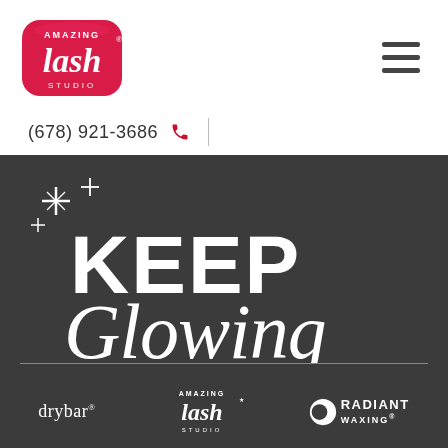[Figure (logo): Amazing Lash Studio logo — white script 'lash' on red/pink pillow-shaped background with 'AMAZING' above and 'STUDIO' below]
(678) 921-3686
[Figure (illustration): Dark charcoal background section with white sparkle stars and large text reading 'KEEP Glowing' — KEEP in bold sans-serif uppercase, Glowing in cursive script]
[Figure (logo): drybar® logo in white lowercase serif text]
[Figure (logo): Amazing Lash Studio logo in white on dark background]
[Figure (logo): Radiant Waxing® logo with circle icon and uppercase text]